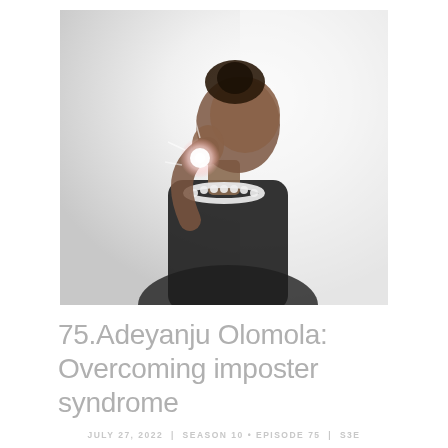[Figure (photo): A woman in a black top and pearl necklace looking upward with her hand raised near her face, holding what appears to be a glowing light source. The image has a high-key, washed-out bright background. The photo is softly lit with a bright flare effect.]
75.Adeyanju Olomola: Overcoming imposter syndrome
JULY 27, 2022  |  SEASON 10 • EPISODE 75  |  S3E